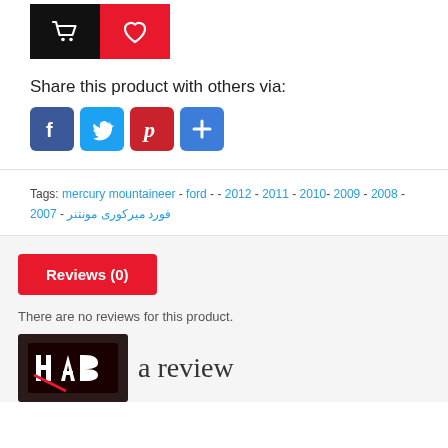[Figure (other): Add to cart (black button with cart icon) and wishlist (red button with heart icon) buttons]
Share this product with others via:
[Figure (other): Social share buttons: Facebook (blue), Twitter (blue), Pinterest (red), and a plus/add button (blue)]
Tags: mercury mountaineer - ford - - 2012 - 2011 - 2010- 2009 - 2008 - 2007 - فورد میرکوری مونتنر
Reviews (0)
There are no reviews for this product.
[Figure (logo): HAB logo in red and white on dark background]
a review